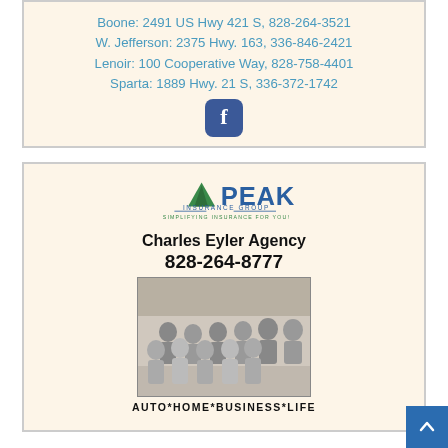Boone: 2491 US Hwy 421 S, 828-264-3521
W. Jefferson: 2375 Hwy. 163, 336-846-2421
Lenoir: 100 Cooperative Way, 828-758-4401
Sparta: 1889 Hwy. 21 S, 336-372-1742
[Figure (logo): Facebook logo icon - blue rounded square with white 'f']
[Figure (illustration): Peak Insurance Group advertisement featuring the Peak Insurance Group logo with green mountain/triangle and blue text, 'Charles Eyler Agency', phone number 828-264-8777, a group photo of ~10 staff members, and tagline AUTO*HOME*BUSINESS*LIFE]